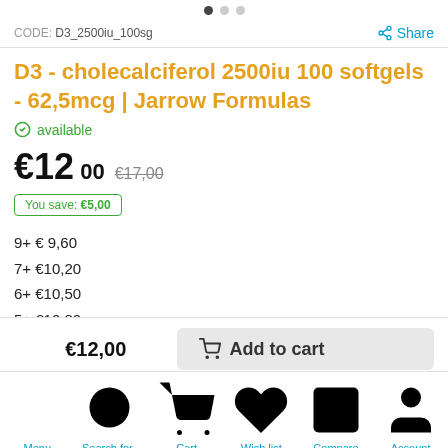CODE: D3_2500iu_100sg  Share
D3 - cholecalciferol 2500iu 100 softgels - 62,5mcg | Jarrow Formulas
available
€12,00  €17,00
You save: €5,00
9+ € 9,60
7+ €10,20
6+ €10,50
5+ €10,80
4+ €11,10
3+ €11,40
€12,00
Add to cart
Menu  Search for brand  Cart  Wish list  Compare  Account